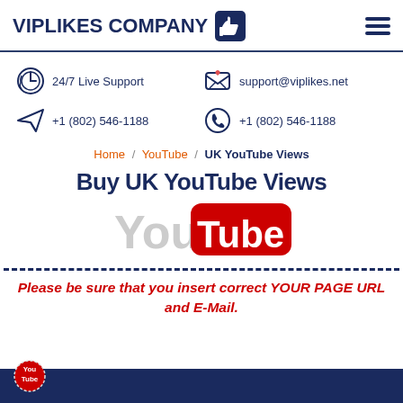VIPLIKES COMPANY
24/7 Live Support
support@viplikes.net
+1 (802) 546-1188
+1 (802) 546-1188
Home / YouTube / UK YouTube Views
Buy UK YouTube Views
[Figure (logo): YouTube logo with 'You' in gray and 'Tube' in white on red rounded rectangle]
Please be sure that you insert correct YOUR PAGE URL and E-Mail.
[Figure (logo): Small YouTube badge circle at bottom left]